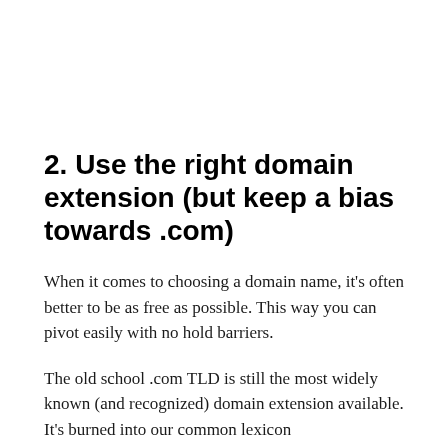2. Use the right domain extension (but keep a bias towards .com)
When it comes to choosing a domain name, it’s often better to be as free as possible. This way you can pivot easily with no hold barriers.
The old school .com TLD is still the most widely known (and recognized) domain extension available. It’s burned into our common lexicon